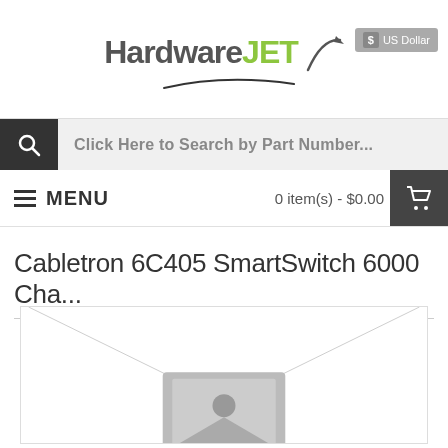HardwareJET
US Dollar
Click Here to Search by Part Number...
MENU  0 item(s) - $0.00
Cabletron 6C405 SmartSwitch 6000 Cha...
[Figure (photo): Product image placeholder with envelope/image icon graphic]